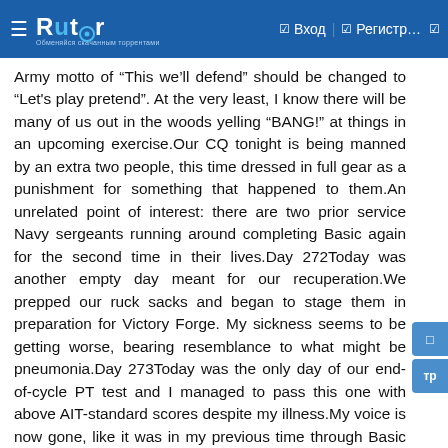Rutor — Вход — Регистр...
Army motto of “This we’ll defend” should be changed to “Let's play pretend”. At the very least, I know there will be many of us out in the woods yelling “BANG!” at things in an upcoming exercise.Our CQ tonight is being manned by an extra two people, this time dressed in full gear as a punishment for something that happened to them.An unrelated point of interest: there are two prior service Navy sergeants running around completing Basic again for the second time in their lives.Day 272Today was another empty day meant for our recuperation.We prepped our ruck sacks and began to stage them in preparation for Victory Forge. My sickness seems to be getting worse, bearing resemblance to what might be pneumonia.Day 273Today was the only day of our end-of-cycle PT test and I managed to pass this one with above AIT-standard scores despite my illness.My voice is now gone, like it was in my previous time through Basic Training. I was worried about it enough that I asked to go in for some cold medicine in order alleviate some of the symptoms before the upcoming march.That appeared to have been a mistake; one of the staff